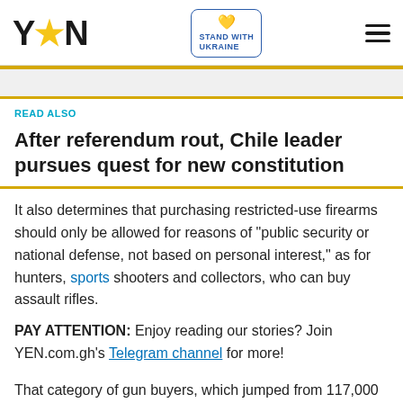YEN | STAND WITH UKRAINE
READ ALSO
After referendum rout, Chile leader pursues quest for new constitution
It also determines that purchasing restricted-use firearms should only be allowed for reasons of "public security or national defense, not based on personal interest," as for hunters, sports shooters and collectors, who can buy assault rifles.
PAY ATTENTION: Enjoy reading our stories? Join YEN.com.gh's Telegram channel for more!
That category of gun buyers, which jumped from 117,000 registrations to more than 672,000 under the Bolsonaro...